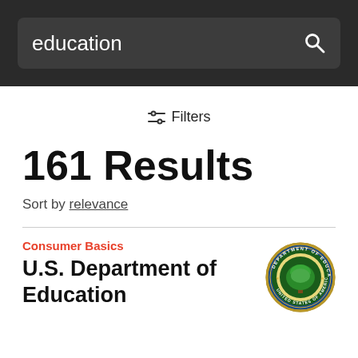education
Filters
161 Results
Sort by relevance
Consumer Basics
U.S. Department of Education
[Figure (logo): U.S. Department of Education official seal — circular emblem with a tree in the center, text around the border reading DEPARTMENT OF EDUCATION, colored in blue, green, and gold]